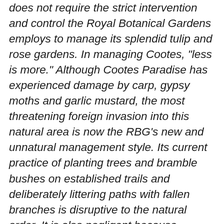does not require the strict intervention and control the Royal Botanical Gardens employs to manage its splendid tulip and rose gardens. In managing Cootes, "less is more." Although Cootes Paradise has experienced damage by carp, gypsy moths and garlic mustard, the most threatening foreign invasion into this natural area is now the RBG's new and unnatural management style. Its current practice of planting trees and bramble bushes on established trails and deliberately littering paths with fallen branches is disruptive to the natural order. It is also negligent because someone could get hurt. The RBG claim that habitat restoration is its goal, but something